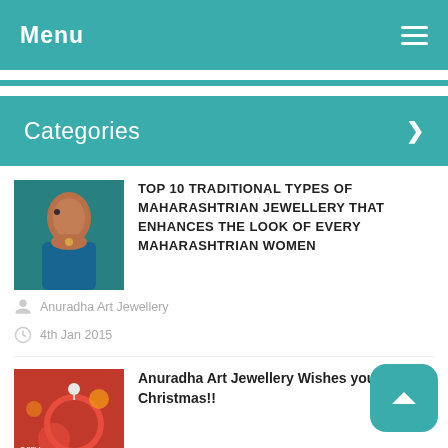Menu
Categories
TOP 10 TRADITIONAL TYPES OF MAHARASHTRIAN JEWELLERY THAT ENHANCES THE LOOK OF EVERY MAHARASHTRIAN WOMEN
Anuradha Art Jewellery
4th Jan 2015
Anuradha Art Jewellery Wishes you Christmas!!
Anuradha Art Jewellery